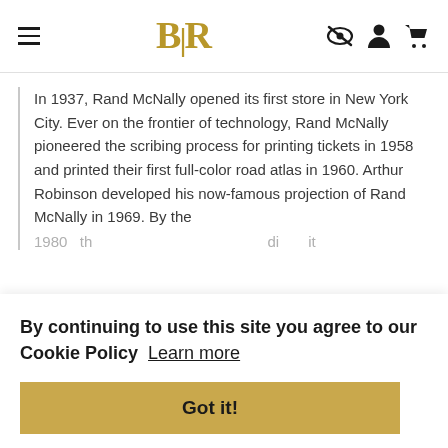BLR
In 1937, Rand McNally opened its first store in New York City. Ever on the frontier of technology, Rand McNally pioneered the scribing process for printing tickets in 1958 and printed their first full-color road atlas in 1960. Arthur Robinson developed his now-famous projection of Rand McNally in 1969. By the 1980...
By continuing to use this site you agree to our Cookie Policy  Learn more
Got it!